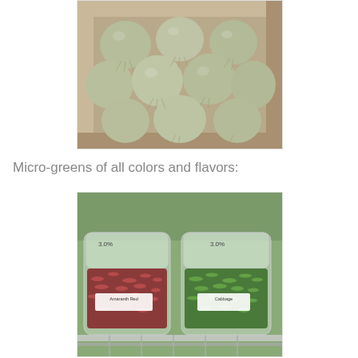[Figure (photo): A cardboard box filled with multiple round, fuzzy-rooted bulbs or tubers (possibly celeriac or similar root vegetables) with fibrous hairy roots, viewed from above.]
Micro-greens of all colors and flavors:
[Figure (photo): Two clear plastic clamshell containers of micro-greens displayed on a wire shelf. The left container holds red/purple micro-greens labeled 'Amaranth Red' and the right holds green micro-greens labeled 'Cabbage'. Both containers show a price of $3.00 approximately.]